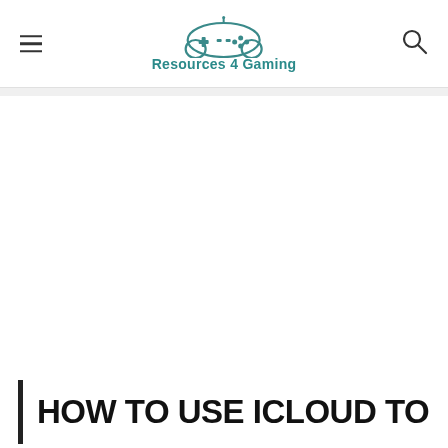Resources 4 Gaming
HOW TO USE ICLOUD TO